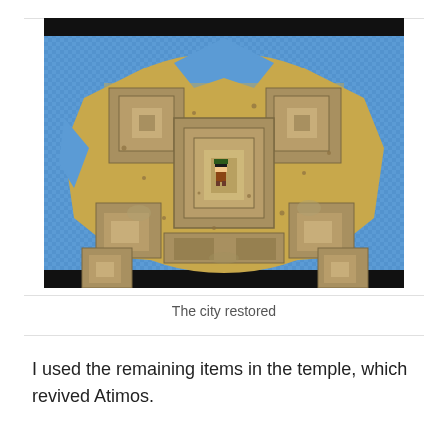[Figure (screenshot): A retro-style top-down RPG video game screenshot showing a desert island city restored, surrounded by water. Sandy terrain with stone buildings and a small character sprite in the center. Black bars at top and bottom of the screenshot.]
The city restored
I used the remaining items in the temple, which revived Atimos.